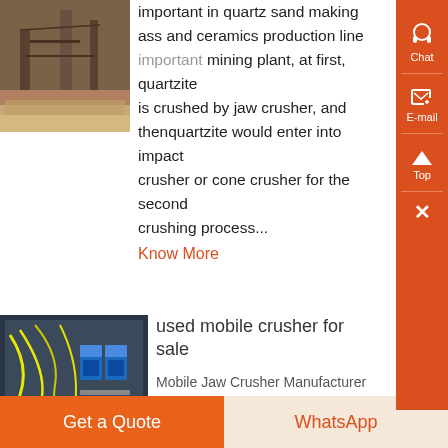[Figure (photo): Outdoor industrial/mining plant equipment photo, partial view at top left]
important in quartz sand making ass and ceramics production line important mining plant, at first, quartzite is crushed by jaw crusher, and thenquartzite would enter into impact crusher or cone crusher for the second crushing process...
Know More
[Figure (photo): Electrical panel with wires and circuit breakers, used mobile crusher context]
used mobile crusher for sale
Mobile Jaw Crusher Manufacturer
Mobile Jaw Crusher Manufacturer
rsorg mobile crusher for
alimousincoza mobile crusher
Get a Quote
WhatsApp